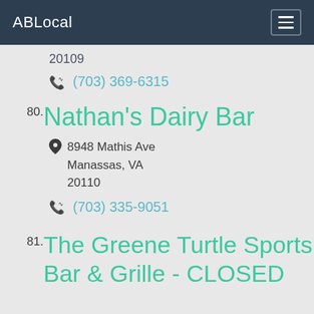ABLocal
20109
(703) 369-6315
80. Nathan's Dairy Bar
8948 Mathis Ave
Manassas, VA
20110
(703) 335-9051
81. The Greene Turtle Sports Bar & Grille - CLOSED